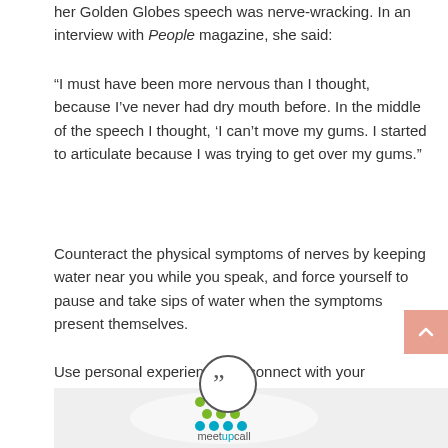her Golden Globes speech was nerve-wracking. In an interview with People magazine, she said:
“I must have been more nervous than I thought, because I’ve never had dry mouth before. In the middle of the speech I thought, ‘I can’t move my gums. I started to articulate because I was trying to get over my gums.”
Counteract the physical symptoms of nerves by keeping water near you while you speak, and force yourself to pause and take sips of water when the symptoms present themselves.
Use personal experiences to connect with your audience, and create a picture of the future that inspires your listeners. Mention your peers when you can, to include other thoughts and perspectives, and give credit to the people you’ve learned from.
[Figure (logo): Meetupcall logo with green and blue dots arranged in a grid pattern above the text 'meetupcall']